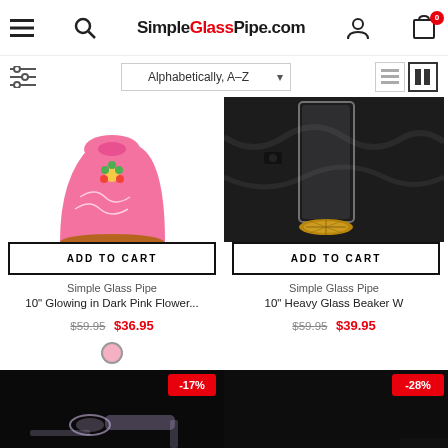SimpleGlassPipe.com
Alphabetically, A-Z
[Figure (photo): Pink ceramic pipe with flower design on white background]
ADD TO CART
Simple Glass Pipe
10" Glowing in Dark Pink Flower...
$59.95  $36.95
[Figure (photo): Glass beaker water pipe on dark background]
ADD TO CART
Simple Glass Pipe
10" Heavy Glass Beaker W
$59.95  $39.95
[Figure (photo): Glass pipe on dark background, -17% discount badge]
[Figure (photo): Product on dark background, -28% discount badge]